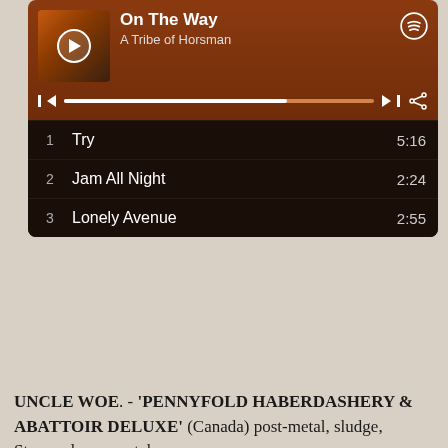[Figure (screenshot): Spotify player widget showing 'On The Way' by A Tribe of Horsman with track listing: 1 Try 5:16, 2 Jam All Night 2:24, 3 Lonely Avenue 2:55]
UNCLE WOE. - 'PENNYFOLD HABERDASHERY & ABATTOIR DELUXE' (Canada) post-metal, sludge, Stoner, doom, metal
[Figure (screenshot): Bandcamp player widget for 'Pennyfold Haberdashery...' by Uncle Woe, showing track 6. Seasick, 00:00 / 08:48]
FROZEN PLANET...1969. - 'GLASSBASTER' (Australia)